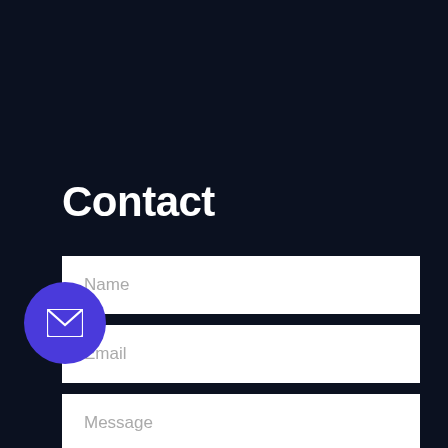Contact
Name
Email
Phone No.
[Figure (illustration): Purple circular floating action button with a white envelope/mail icon in the center]
Message